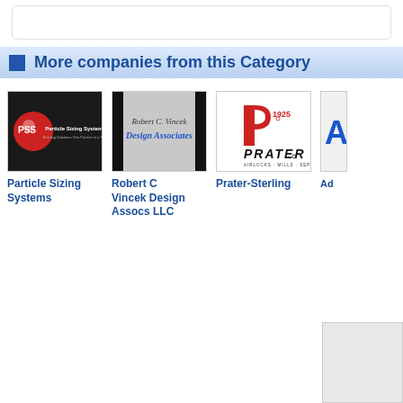More companies from this Category
[Figure (logo): Particle Sizing Systems logo - red sphere with PSS text on black background]
Particle Sizing Systems
[Figure (logo): Robert C. Vincek Design Associates logo - gray gradient background with company name in italic blue text]
Robert C Vincek Design Assocs LLC
[Figure (logo): Prater-Sterling logo - red P shape with 1925 and PRATER text, AIRLOCKS MILLS SEPARATORS tagline]
Prater-Sterling
[Figure (logo): Partial fourth company logo - blue letter A visible]
Ad...